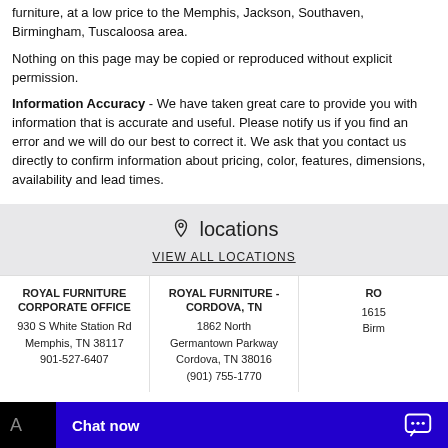furniture, at a low price to the Memphis, Jackson, Southaven, Birmingham, Tuscaloosa area.
Nothing on this page may be copied or reproduced without explicit permission.
Information Accuracy - We have taken great care to provide you with information that is accurate and useful. Please notify us if you find an error and we will do our best to correct it. We ask that you contact us directly to confirm information about pricing, color, features, dimensions, availability and lead times.
locations
VIEW ALL LOCATIONS
ROYAL FURNITURE CORPORATE OFFICE
930 S White Station Rd
Memphis, TN 38117
901-527-6407
ROYAL FURNITURE - CORDOVA, TN
1862 North Germantown Parkway
Cordova, TN 38016
(901) 755-1770
RO
1615
Birm
Chat now